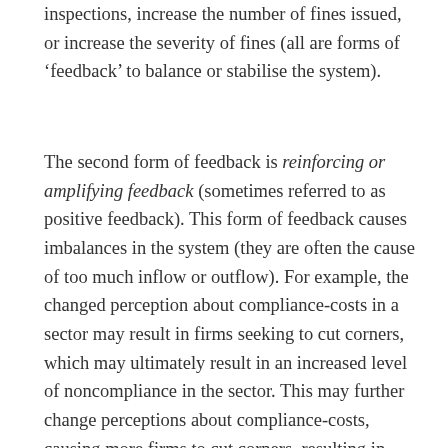inspections, increase the number of fines issued, or increase the severity of fines (all are forms of 'feedback' to balance or stabilise the system).
The second form of feedback is reinforcing or amplifying feedback (sometimes referred to as positive feedback). This form of feedback causes imbalances in the system (they are often the cause of too much inflow or outflow). For example, the changed perception about compliance-costs in a sector may result in firms seeking to cut corners, which may ultimately result in an increased level of noncompliance in the sector. This may further change perceptions about compliance-costs, causing more firms to cut corners, resulting in even higher levels of noncompliance.